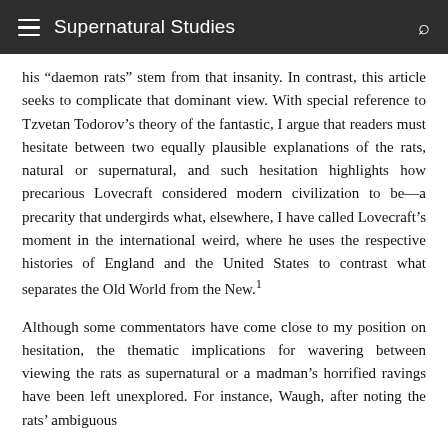Supernatural Studies
his "daemon rats" stem from that insanity. In contrast, this article seeks to complicate that dominant view. With special reference to Tzvetan Todorov's theory of the fantastic, I argue that readers must hesitate between two equally plausible explanations of the rats, natural or supernatural, and such hesitation highlights how precarious Lovecraft considered modern civilization to be—a precarity that undergirds what, elsewhere, I have called Lovecraft's moment in the international weird, where he uses the respective histories of England and the United States to contrast what separates the Old World from the New.¹
Although some commentators have come close to my position on hesitation, the thematic implications for wavering between viewing the rats as supernatural or a madman's horrified ravings have been left unexplored. For instance, Waugh, after noting the rats' ambiguous